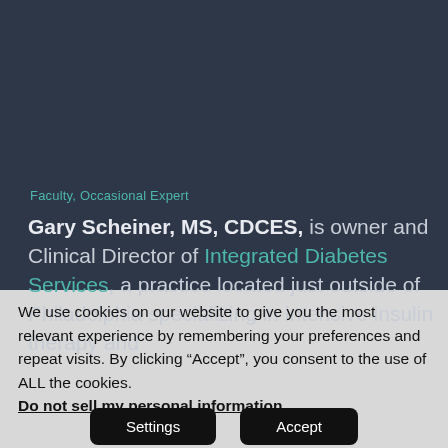Faculty, Occasional Expert
Gary Scheiner, MS, CDCES, is owner and Clinical Director of Integrated Diabetes Services, a practice located just outside of Philadelphia specializing in intensive insulin therapy and
We use cookies on our website to give you the most relevant experience by remembering your preferences and repeat visits. By clicking “Accept”, you consent to the use of ALL the cookies. Do not sell my personal information.
Settings
Accept